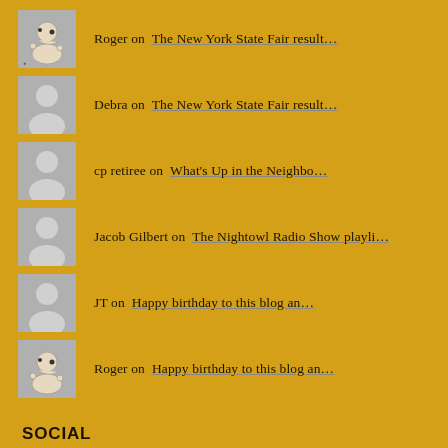Roger on  The New York State Fair result...
Debra on  The New York State Fair result...
cp retiree on  What's Up in the Neighbo...
Jacob Gilbert on  The Nightowl Radio Show playli...
JT on  Happy birthday to this blog an...
Roger on  Happy birthday to this blog an...
SOCIAL